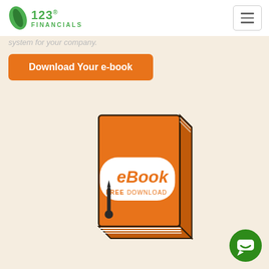123 FINANCIALS
system for your company.
Download Your e-book
[Figure (illustration): Orange eBook with white label reading 'eBook FREE DOWNLOAD', illustrated in 3D perspective with pen bookmark]